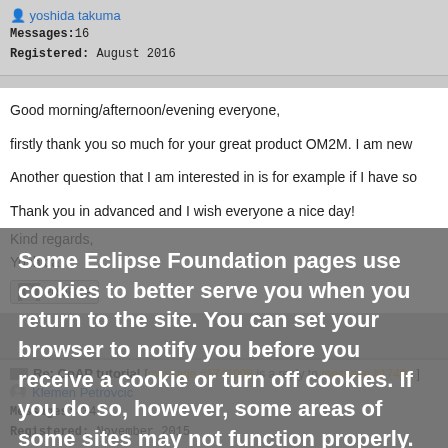yoshida takuma
Messages: 16
Registered: August 2016
Good morning/afternoon/evening everyone,

firstly thank you so much for your great product OM2M. I am new

Another question that I am interested in is for example if I have so

Thank you in advanced and I wish everyone a nice day!

Kind regards,
Yoshida
Some Eclipse Foundation pages use cookies to better serve you when you return to the site. You can set your browser to notify you before you receive a cookie or turn off cookies. If you do so, however, some areas of some sites may not function properly. To read Eclipse Foundation Privacy Policy click here.
Decline
Allow cookies
Re: CoAP tutorial [message #1741008 is a reply to message #1740...
Klemen Petrovcic
Messages: 34
Registered: November 2015